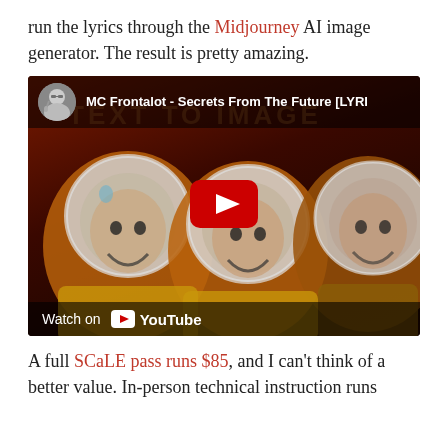run the lyrics through the Midjourney AI image generator. The result is pretty amazing.
[Figure (screenshot): YouTube video embed showing 'MC Frontalot - Secrets From The Future [LYRI...' with a thumbnail of three astronauts in yellow suits with clown-like laughing faces against a dark red background. A red YouTube play button is shown in the center. Bottom bar shows 'Watch on YouTube'.]
A full SCaLE pass runs $85, and I can't think of a better value. In-person technical instruction runs...